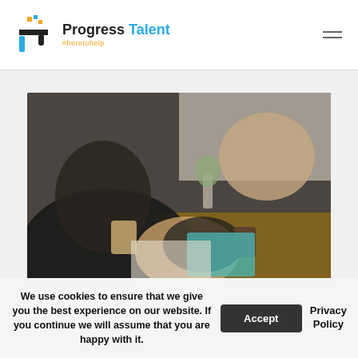[Figure (logo): Progress Talent logo with icon and text including tagline #heretohelp]
[Figure (photo): Two people shaking hands across a table in a cafe/meeting setting, with coffee cups and documents on the table]
We use cookies to ensure that we give you the best experience on our website. If you continue we will assume that you are happy with it.
Accept
Privacy Policy